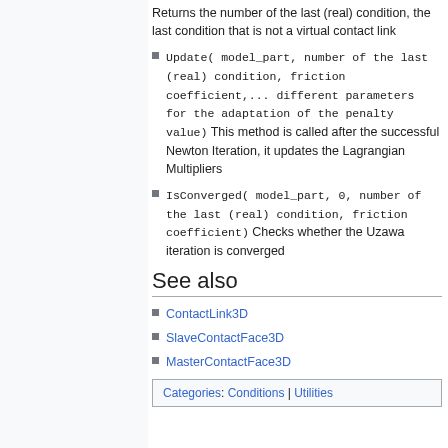Returns the number of the last (real) condition, the last condition that is not a virtual contact link
Update( model_part, number of the last (real) condition, friction coefficient,... different parameters for the adaptation of the penalty value) This method is called after the successful Newton Iteration, it updates the Lagrangian Multipliers
IsConverged( model_part, 0, number of the last (real) condition, friction coefficient) Checks whether the Uzawa iteration is converged
See also
ContactLink3D
SlaveContactFace3D
MasterContactFace3D
Categories: Conditions | Utilities